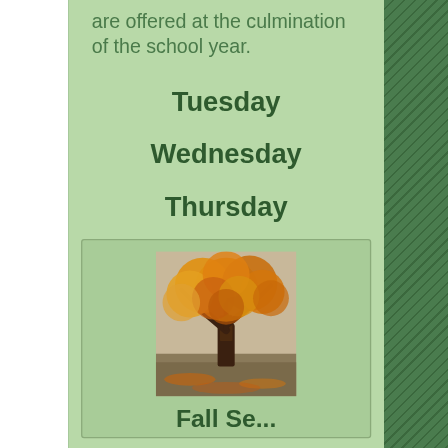are offered at the culmination of the school year.
Tuesday
Wednesday
Thursday
[Figure (photo): An autumn tree with orange and golden leaves, grass in foreground.]
Fall Se...